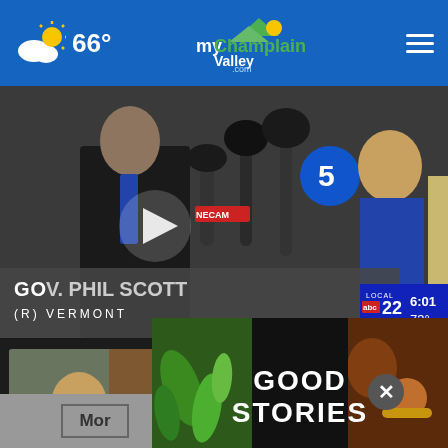66° myChamplainValley.com
[Figure (screenshot): Video thumbnail of Gov. Phil Scott at a press conference with microphones, with lower-third graphic showing GOV. PHIL SCOTT (R) VERMONT and LOCAL 22 bug showing 6:01 73°]
[Figure (screenshot): Video thumbnail: Governor Scott discusses plan to... - 11 hours ago]
[Figure (screenshot): Video thumbnail: Vermont leaders invest in combating opioid... - 11 hours ago]
[Figure (screenshot): Video thumbnail: Grand Hotel... (partial)]
Mor
[Figure (photo): Advertisement banner showing vegetables and food with text GOOD STORIES]